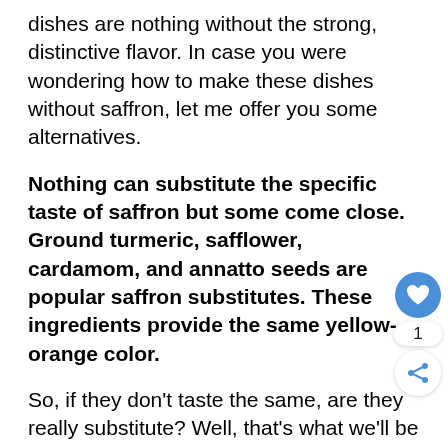dishes are nothing without the strong, distinctive flavor. In case you were wondering how to make these dishes without saffron, let me offer you some alternatives.
Nothing can substitute the specific taste of saffron but some come close. Ground turmeric, safflower, cardamom, and annatto seeds are popular saffron substitutes. These ingredients provide the same yellow-orange color.
So, if they don't taste the same, are they really substitute? Well, that's what we'll be expanding o... If you just wanted to find out the substitutes and nothing else, you can move on with the baking. For those that want to find all about saffron and its
[Figure (other): Floating UI overlay with a blue heart/like button showing a count of 1, and a share button below it]